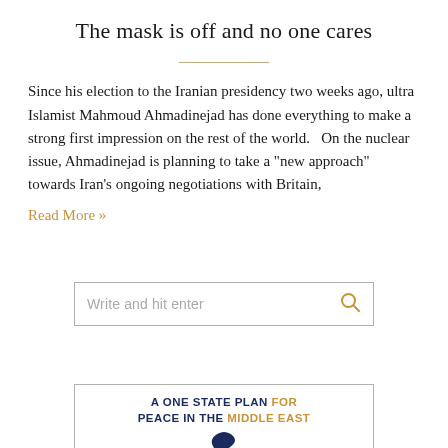The mask is off and no one cares
Since his election to the Iranian presidency two weeks ago, ultra Islamist Mahmoud Ahmadinejad has done everything to make a strong first impression on the rest of the world.   On the nuclear issue, Ahmadinejad is planning to take a "new approach" towards Iran's ongoing negotiations with Britain,
Read More »
[Figure (other): Search box with placeholder text 'Write and hit enter' and a search icon on the right]
[Figure (other): Book cover or widget showing 'A ONE STATE PLAN FOR PEACE IN THE MIDDLE EAST' with a map silhouette below]